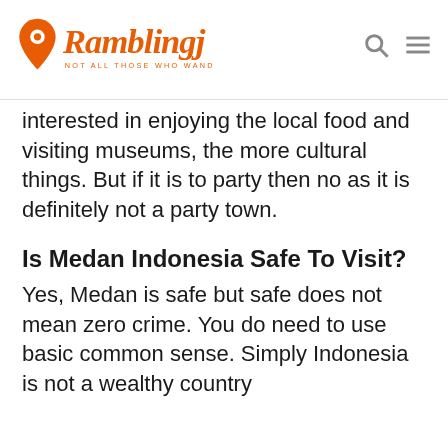Ramblingj — NOT ALL THOSE WHO WANDER ARE LOST
interested in enjoying the local food and visiting museums, the more cultural things. But if it is to party then no as it is definitely not a party town.
Is Medan Indonesia Safe To Visit?
Yes, Medan is safe but safe does not mean zero crime. You do need to use basic common sense. Simply Indonesia is not a wealthy country